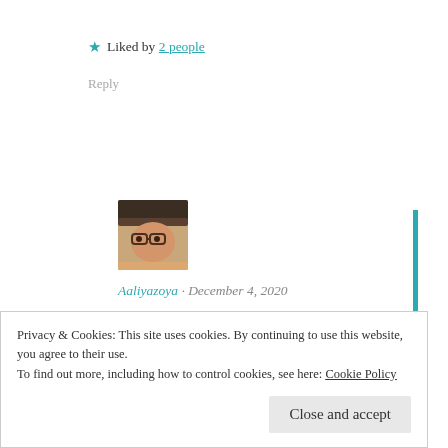★ Liked by 2 people
Reply
[Figure (photo): User avatar photo of Aaliyazoya, a person with glasses and a hat]
Aaliyazoya · December 4, 2020
Thanks 😊😍
★ Like
Reply
Privacy & Cookies: This site uses cookies. By continuing to use this website, you agree to their use.
To find out more, including how to control cookies, see here: Cookie Policy
Close and accept